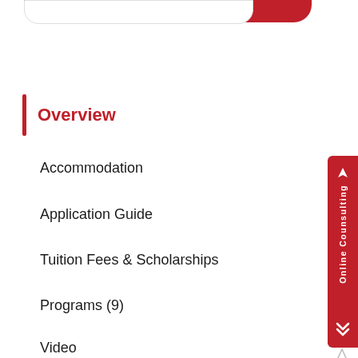Overview
Accommodation
Application Guide
Tuition Fees & Scholarships
Programs (9)
Video
Other
Online Counsulting